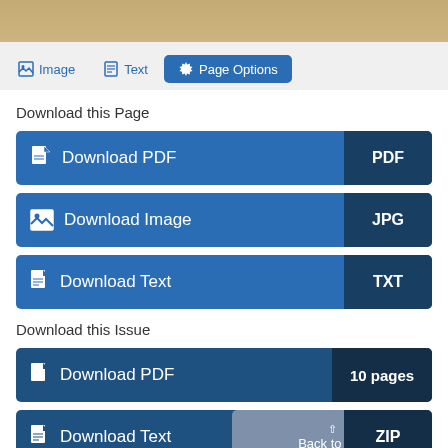[Figure (screenshot): Top strip showing partial scanned document image with beige/tan color]
Image   Text   Page Options
Download this Page
Download PDF   PDF
Download Image   JPG
Download Text   TXT
Download this Issue
Download PDF   10 pages
Download Text   ZIP
Back to Top